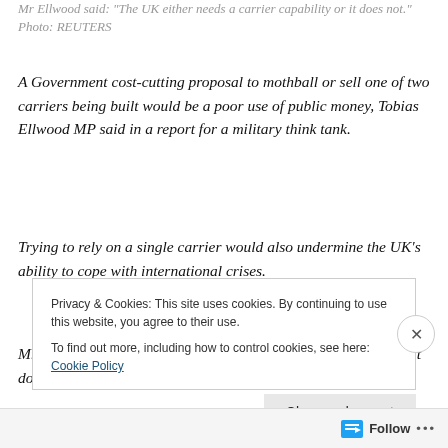Mr Ellwood said: "The UK either needs a carrier capability or it does not." Photo: REUTERS
A Government cost-cutting proposal to mothball or sell one of two carriers being built would be a poor use of public money, Tobias Ellwood MP said in a report for a military think tank.
Trying to rely on a single carrier would also undermine the UK’s ability to cope with international crises.
Mr Ellwood said: “The UK either needs a carrier capability or it does not.
Privacy & Cookies: This site uses cookies. By continuing to use this website, you agree to their use.
To find out more, including how to control cookies, see here: Cookie Policy
Close and accept
Follow ...